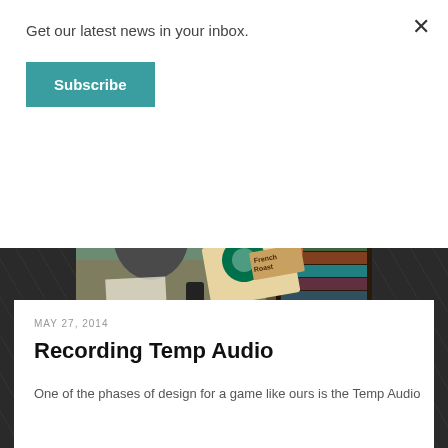Get our latest news in your inbox.
Subscribe
×
[Figure (photo): Two people sitting at a desk. A man wearing headphones and glasses holds something to his face on the left. A woman on the right smiles and holds up a Starbucks French Roast coffee box. Bookshelves and plants are visible in the background.]
MAY 27, 2014
Recording Temp Audio
One of the phases of design for a game like ours is the Temp Audio